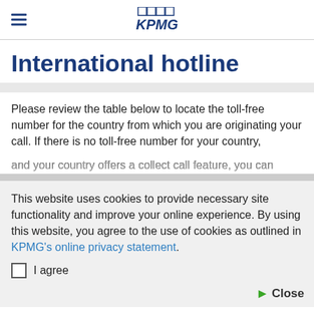KPMG
International hotline
Please review the table below to locate the toll-free number for the country from which you are originating your call. If there is no toll-free number for your country, and your country offers a collect call feature, you can
This website uses cookies to provide necessary site functionality and improve your online experience. By using this website, you agree to the use of cookies as outlined in KPMG's online privacy statement.
I agree
Close